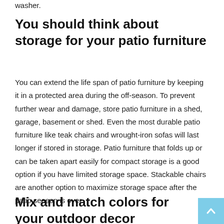washer.
You should think about storage for your patio furniture
You can extend the life span of patio furniture by keeping it in a protected area during the off-season. To prevent further wear and damage, store patio furniture in a shed, garage, basement or shed. Even the most durable patio furniture like teak chairs and wrought-iron sofas will last longer if stored in storage. Patio furniture that folds up or can be taken apart easily for compact storage is a good option if you have limited storage space. Stackable chairs are another option to maximize storage space after the patio season is over.
Mix and match colors for your outdoor decor